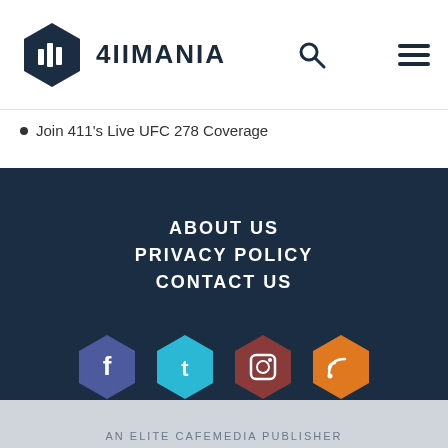4IIMANIA
Join 411's Live UFC 278 Coverage
ABOUT US
PRIVACY POLICY
CONTACT US
[Figure (infographic): Four hexagonal social media icons: Facebook (dark blue/purple), Twitter (cyan), Instagram (dark red/brown), RSS (orange)]
Copyright © 2022 411mania.com, LLC. All rights reserved. Click here for our privacy policy. Please help us serve you better, fill out our survey. Use of this site signifies your agreement to our terms of use.
AN ELITE CAFEMEDIA PUBLISHER